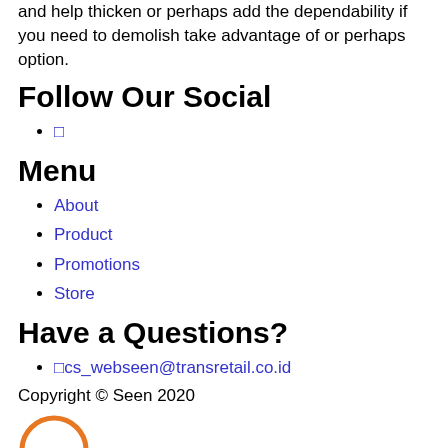and help thicken or perhaps add the dependability if you need to demolish take advantage of or perhaps option.
Follow Our Social
□
Menu
About
Product
Promotions
Store
Have a Questions?
□cs_webseen@transretail.co.id
Copyright © Seen 2020
[Figure (illustration): Orange circle outline icon at bottom left]